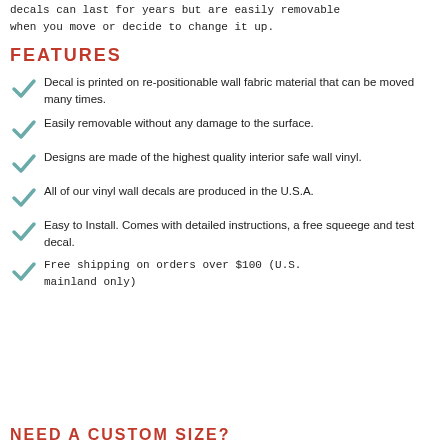decals can last for years but are easily removable when you move or decide to change it up.
FEATURES
Decal is printed on re-positionable wall fabric material that can be moved many times.
Easily removable without any damage to the surface.
Designs are made of the highest quality interior safe wall vinyl.
All of our vinyl wall decals are produced in the U.S.A.
Easy to Install. Comes with detailed instructions, a free squeege and test decal.
Free shipping on orders over $100 (U.S. mainland only)
NEED A CUSTOM SIZE?